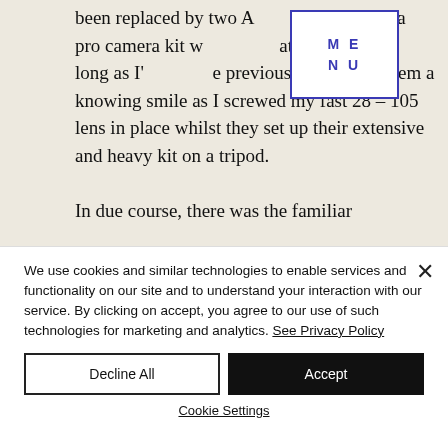been replaced by two Americans who had a pro camera kit with lenses at least twice as long as I'd used the previous day. I gave them a knowing smile as I screwed my fast 28 – 105 lens in place whilst they set up their extensive and heavy kit on a tripod.

In due course, there was the familiar
[Figure (other): MENU navigation overlay box with blue border and blue text reading 'M E / N U']
We use cookies and similar technologies to enable services and functionality on our site and to understand your interaction with our service. By clicking on accept, you agree to our use of such technologies for marketing and analytics. See Privacy Policy
Decline All | Accept
Cookie Settings